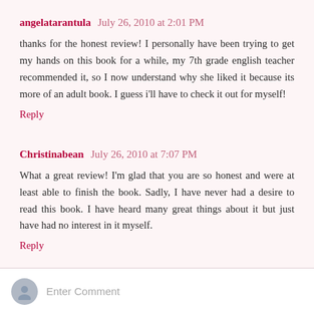angelatarantula July 26, 2010 at 2:01 PM
thanks for the honest review! I personally have been trying to get my hands on this book for a while, my 7th grade english teacher recommended it, so I now understand why she liked it because its more of an adult book. I guess i'll have to check it out for myself!
Reply
Christinabean July 26, 2010 at 7:07 PM
What a great review! I'm glad that you are so honest and were at least able to finish the book. Sadly, I have never had a desire to read this book. I have heard many great things about it but just have had no interest in it myself.
Reply
Enter Comment